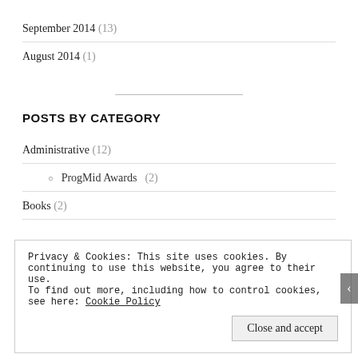September 2014 (13)
August 2014 (1)
POSTS BY CATEGORY
Administrative (12)
ProgMid Awards (2)
Books (2)
Privacy & Cookies: This site uses cookies. By continuing to use this website, you agree to their use.
To find out more, including how to control cookies, see here: Cookie Policy
Close and accept